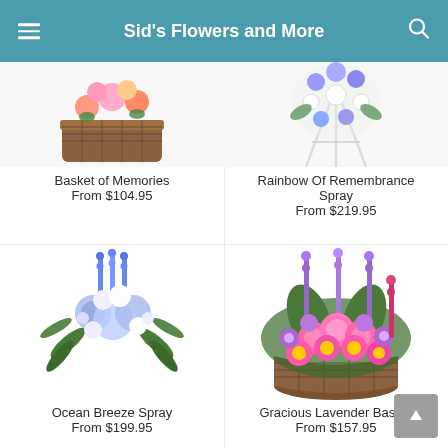Sid's Flowers and More
Basket of Memories
From $104.95
Rainbow Of Remembrance Spray
From $219.95
[Figure (photo): Blue and white flower spray arrangement on easel stand - Ocean Breeze Spray]
[Figure (photo): Pink purple lavender flowers in a wicker basket - Gracious Lavender Basket]
Ocean Breeze Spray
From $199.95
Gracious Lavender Basket
From $157.95